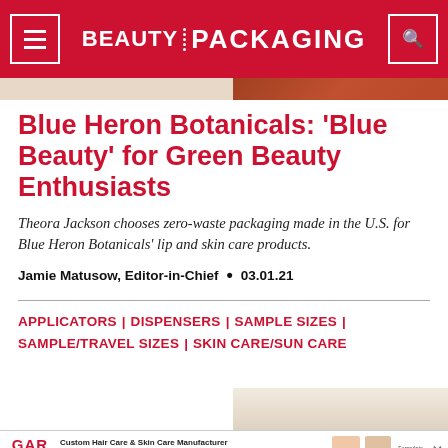BEAUTY PACKAGING
Blue Heron Botanicals: ‘Blue Beauty’ for Green Beauty Enthusiasts
Theora Jackson chooses zero-waste packaging made in the U.S. for Blue Heron Botanicals’ lip and skin care products.
Jamie Matusow, Editor-in-Chief • 03.01.21
APPLICATORS | DISPENSERS | SAMPLE SIZES | SAMPLE/TRAVEL SIZES | SKIN CARE/SUN CARE
[Figure (screenshot): GAR Laboratories advertisement banner: Custom Hair Care & Skin Care Manufacturer. Certified Organic, Solar Powered, FDA & EPA Registered. Low Cost, 5000 pcs & up. Call for Quick Quote. info@GARLABS.com. Formulate. Package.]